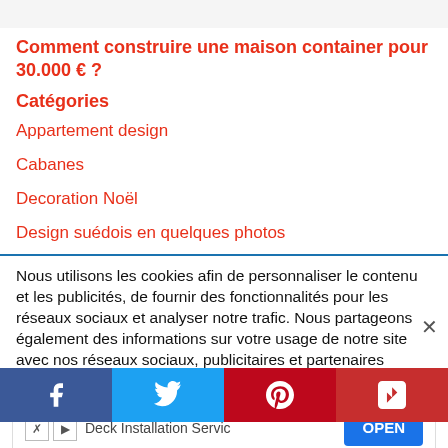Comment construire une maison container pour 30.000 € ?
Catégories
Appartement design
Cabanes
Decoration Noël
Design suédois en quelques photos
Nous utilisons les cookies afin de personnaliser le contenu et les publicités, de fournir des fonctionnalités pour les réseaux sociaux et analyser notre trafic. Nous partageons également des informations sur votre usage de notre site avec nos réseaux sociaux, publicitaires et partenaires d'analyse.
[Figure (screenshot): Advertisement banner: 'Deck Installation Servic...' with OPEN button]
[Figure (screenshot): Social sharing bar with Facebook, Twitter, Pinterest, Flipboard buttons]